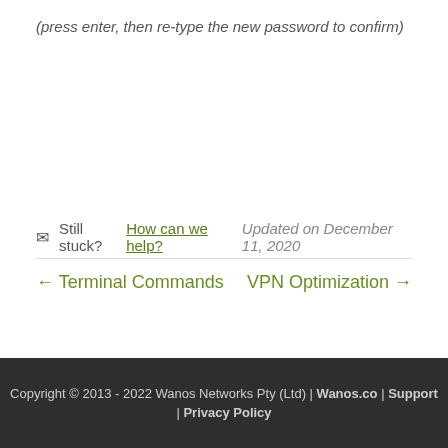(press enter, then re-type the new password to confirm)
✉ Still stuck? How can we help?   Updated on December 11, 2020
← Terminal Commands    VPN Optimization →
Was this article helpful to you? Yes 4  No
Copyright © 2013 - 2022 Wanos Networks Pty (Ltd) | Wanos.co | Support | Privacy Policy